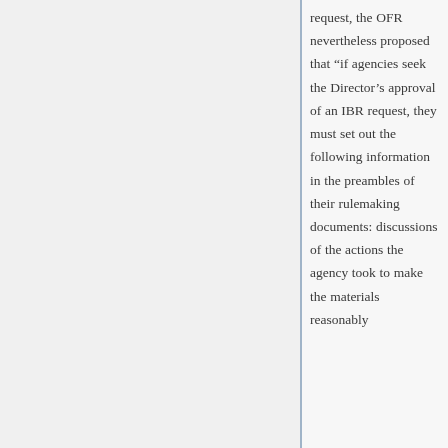request, the OFR nevertheless proposed that “if agencies seek the Director’s approval of an IBR request, they must set out the following information in the preambles of their rulemaking documents: discussions of the actions the agency took to make the materials reasonably available to